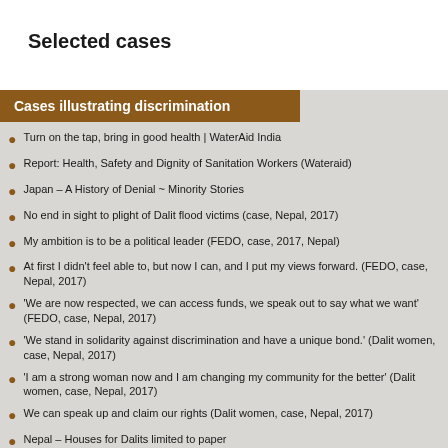Selected cases
Cases illustrating discrimination
Turn on the tap, bring in good health | WaterAid India
Report: Health, Safety and Dignity of Sanitation Workers (Wateraid)
Japan – A History of Denial ~ Minority Stories
No end in sight to plight of Dalit flood victims (case, Nepal, 2017)
My ambition is to be a political leader (FEDO, case, 2017, Nepal)
At first I didn't feel able to, but now I can, and I put my views forward. (FEDO, case, Nepal, 2017)
'We are now respected, we can access funds, we speak out to say what we want' (FEDO, case, Nepal, 2017)
'We stand in solidarity against discrimination and have a unique bond.' (Dalit women, case, Nepal, 2017)
'I am a strong woman now and I am changing my community for the better' (Dalit women, case, Nepal, 2017)
We can speak up and claim our rights (Dalit women, case, Nepal, 2017)
Nepal – Houses for Dalits limited to paper